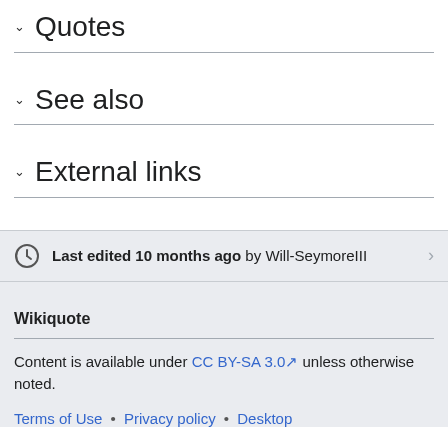∨ Quotes
∨ See also
∨ External links
Last edited 10 months ago by Will-SeymoreIII
Wikiquote
Content is available under CC BY-SA 3.0 unless otherwise noted.
Terms of Use • Privacy policy • Desktop